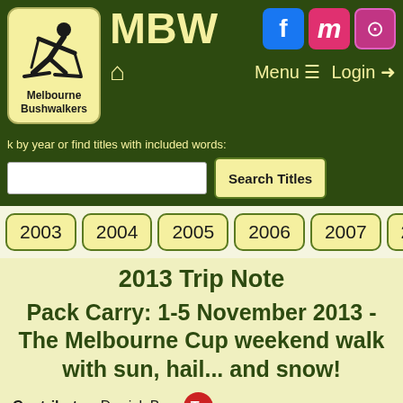MBW Melbourne Bushwalkers
Browse by year or find titles with included words:
Search Titles
2003
2004
2005
2006
2007
2008
2013 Trip Note
Pack Carry: 1-5 November 2013 - The Melbourne Cup weekend walk with sun, hail... and snow!
Contributor: Derrick Brown
Source: "The News", December, 2013